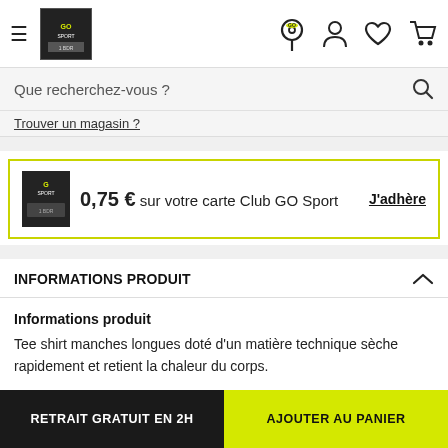GO Sport navigation header with hamburger menu, logo, store locator, account, wishlist, cart icons
Que recherchez-vous ?
Trouver en magasin ?
0,75 € sur votre carte Club GO Sport   J'adhère
INFORMATIONS PRODUIT
Informations produit
Tee shirt manches longues doté d'un matière technique sèche rapidement et retient la chaleur du corps.
Informations Générales
RETRAIT GRATUIT EN 2H   AJOUTER AU PANIER